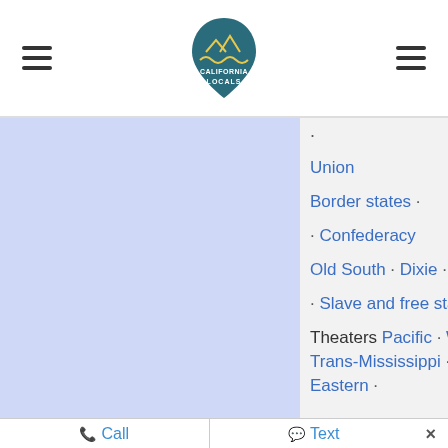California Locals - navigation header with hamburger menus and logo
[Figure (logo): California Locals logo - teal arched badge with mountains and waves]
·
Civil War
Union
Border states ·
· Confederacy
Old South · Dixie ·
· Slave and free state
Theaters Pacific · W Trans-Mississippi · L Eastern ·
Call  Text  ×